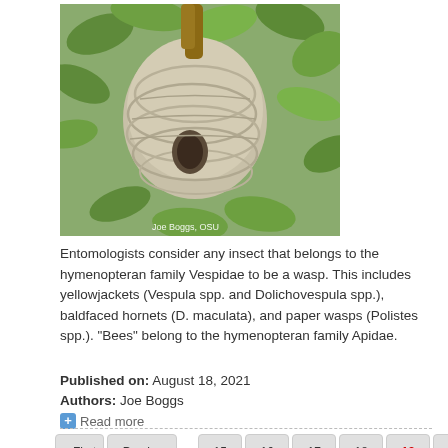[Figure (photo): A wasp nest hanging in a tree with green leaves, photographed by Joe Boggs, OSU]
Entomologists consider any insect that belongs to the hymenopteran family Vespidae to be a wasp. This includes yellowjackets (Vespula spp. and Dolichovespula spp.), baldfaced hornets (D. maculata), and paper wasps (Polistes spp.). "Bees" belong to the hymenopteran family Apidae.
Published on:  August 18, 2021
Authors:  Joe Boggs
+ Read more
« First  ‹ Previous  ...  15  16  17  18  19  20  21  22  23  ...  Next ›  Last »